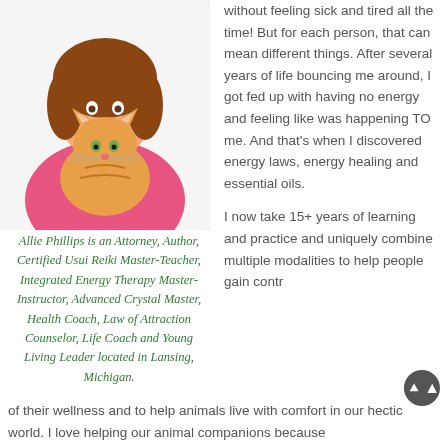[Figure (photo): Photo of a woman with brown hair wearing a pink top, holding an orange tabby cat]
Allie Phillips is an Attorney, Author, Certified Usui Reiki Master-Teacher, Integrated Energy Therapy Master-Instructor, Advanced Crystal Master, Health Coach, Law of Attraction Counselor, Life Coach and Young Living Leader located in Lansing, Michigan.
without feeling sick and tired all the time! But for each person, that can mean different things. After several years of life bouncing me around, I got fed up with having no energy and feeling like was happening TO me. And that's when I discovered energy laws, energy healing and essential oils.
I now take 15+ years of learning and practice and uniquely combine multiple modalities to help people gain control of their wellness and to help animals live with comfort in our hectic world. I love helping our animal companions because